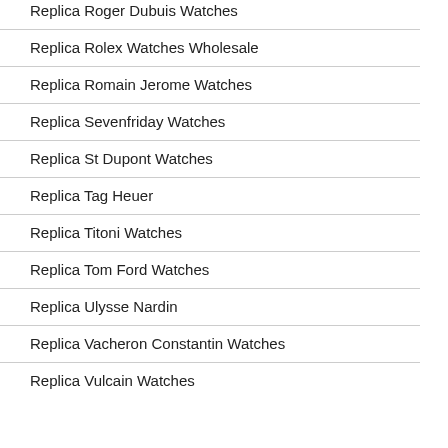Replica Roger Dubuis Watches
Replica Rolex Watches Wholesale
Replica Romain Jerome Watches
Replica Sevenfriday Watches
Replica St Dupont Watches
Replica Tag Heuer
Replica Titoni Watches
Replica Tom Ford Watches
Replica Ulysse Nardin
Replica Vacheron Constantin Watches
Replica Vulcain Watches